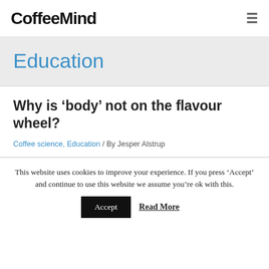CoffeeMind
Education
Why is ‘body’ not on the flavour wheel?
Coffee science, Education / By Jesper Alstrup
This website uses cookies to improve your experience. If you press ‘Accept’ and continue to use this website we assume you’re ok with this.
Accept   Read More